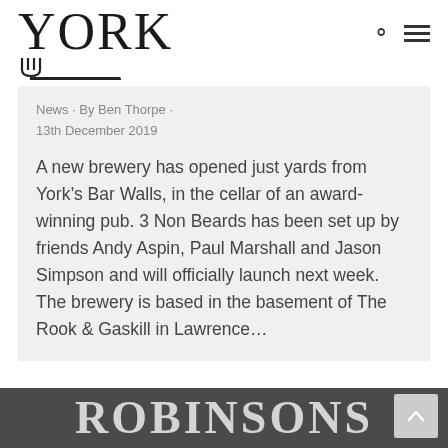YORK
News · By Ben Thorpe · 13th December 2019
A new brewery has opened just yards from York's Bar Walls, in the cellar of an award-winning pub. 3 Non Beards has been set up by friends Andy Aspin, Paul Marshall and Jason Simpson and will officially launch next week.   The brewery is based in the basement of The Rook & Gaskill in Lawrence…
[Figure (logo): ROBINSONS text logo on dark grey background, partially visible at bottom of page]